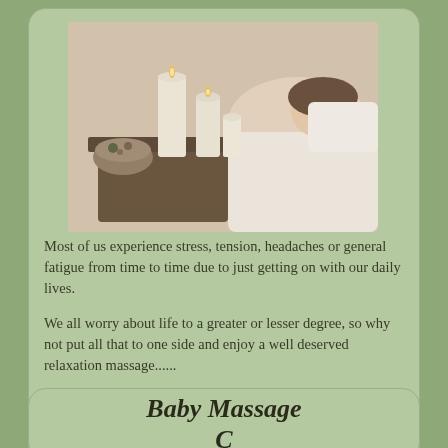[Figure (photo): A woman lying on a massage table with candles and spa accessories in the foreground]
Most of us experience stress, tension, headaches or general fatigue from time to time due to just getting on with our daily lives.
We all worry about life to a greater or lesser degree, so why not put all that to one side and enjoy a well deserved relaxation massage......
.....A relaxation massage will help to revitalise your body by relieving muscular stress and tension; will help to promote physical and mental relaxation and restore the body's balance promoting a feeling of well being, leaving you refreshed and ready to face the challenges of life with renewed energy and vigour.
Baby Massage C...